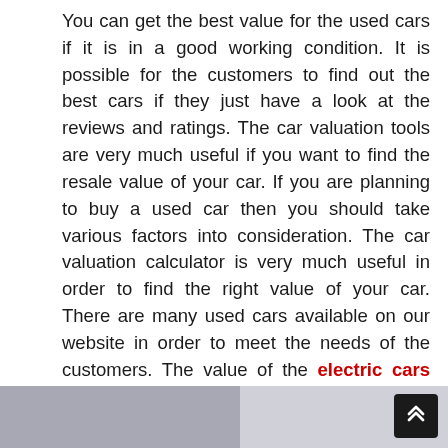You can get the best value for the used cars if it is in a good working condition. It is possible for the customers to find out the best cars if they just have a look at the reviews and ratings. The car valuation tools are very much useful if you want to find the resale value of your car. If you are planning to buy a used car then you should take various factors into consideration. The car valuation calculator is very much useful in order to find the right value of your car. There are many used cars available on our website in order to meet the needs of the customers. The value of the electric cars for sale in San Diego can be depreciated from time to time so you should be verified carefully. You can get the best guidance from the experts if you are planning to purchase the used cars.
[Figure (photo): Partial bottom strip showing what appears to be a car image, partially cut off at the bottom of the page, with a scroll-to-top button overlay in the bottom right corner.]